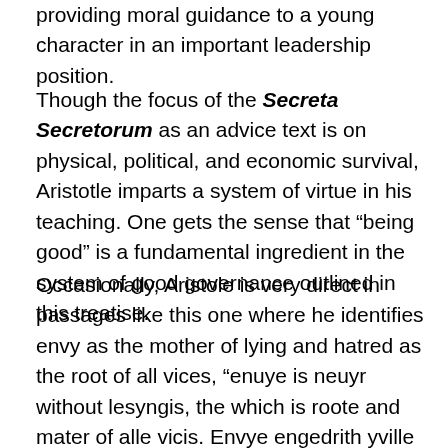providing moral guidance to a young character in an important leadership position.
Though the focus of the Secreta Secretorum as an advice text is on physical, political, and economic survival, Aristotle imparts a system of virtue in his teaching. One gets the sense that “being good” is a fundamental ingredient in the system of good governance outlined in this treatise.
Occasionally, Aristole is very direct in passages like this one where he identifies envy as the mother of lying and hatred as the root of all vices, “enuye is neuyr without lesyngis, the which is roote and mater of alle vicis. Envye engedrith yville spekyng, and of yville speche cometh hatred.” (Cap. 8 ll. 6-9)[15] To balance his sermon on the root of vice, Aristotle later points out that truth brings good faith, justice, friendship, great renown for the leader both